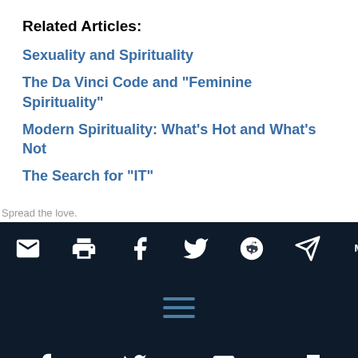Related Articles:
Sexuality and Spirituality
The Da Vinci Code and "Feminine Spirituality"
Modern Spirituality: What's Hot and What's Not
The Search for "IT"
Spread the love.
[Figure (infographic): Row of 10 social sharing icons (email, print, Facebook, Twitter, Reddit, Telegram, MW, a fork icon, Pinterest, Instagram) on dark navy background]
[Figure (infographic): Dark navy navigation bar with hamburger menu icon (3 horizontal lines in blue)]
Bottom bar with Facebook, Twitter, email, and print icons on dark navy background